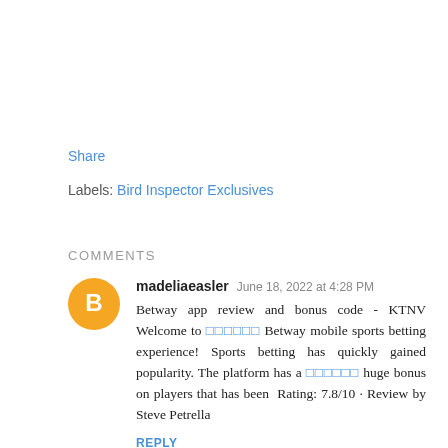Share
Labels: Bird Inspector Exclusives
COMMENTS
madeliaeasler  June 18, 2022 at 4:28 PM

Betway app review and bonus code - KTNV Welcome to □□□□□□ Betway mobile sports betting experience! Sports betting has quickly gained popularity. The platform has a □□□□□□ huge bonus on players that has been  Rating: 7.8/10 · Review by Steve Petrella

REPLY